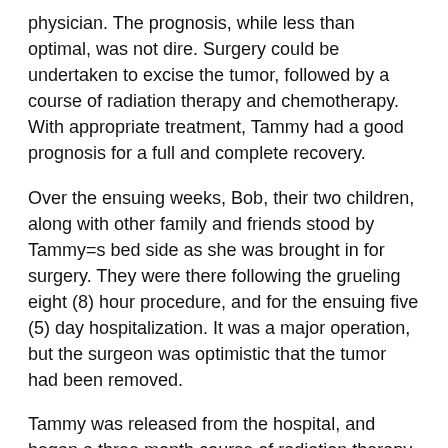physician. The prognosis, while less than optimal, was not dire. Surgery could be undertaken to excise the tumor, followed by a course of radiation therapy and chemotherapy. With appropriate treatment, Tammy had a good prognosis for a full and complete recovery.
Over the ensuing weeks, Bob, their two children, along with other family and friends stood by Tammy=s bed side as she was brought in for surgery. They were there following the grueling eight (8) hour procedure, and for the ensuing five (5) day hospitalization. It was a major operation, but the surgeon was optimistic that the tumor had been removed.
Tammy was released from the hospital, and began a three month course of radiation therapy. She endured this treatment, and although apprehensive, was eager to complete the next stage of the treatment, which entailed chemotherapy. The family remained optimistic that Tammy had beaten the cancer, and that following the